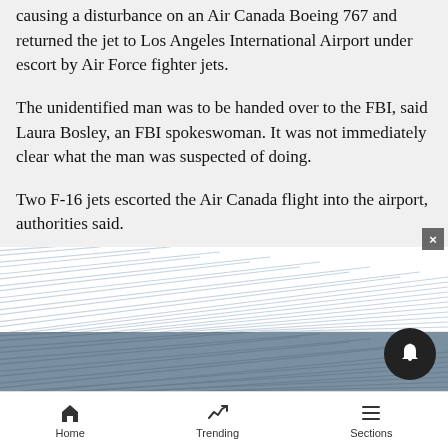causing a disturbance on an Air Canada Boeing 767 and returned the jet to Los Angeles International Airport under escort by Air Force fighter jets.
The unidentified man was to be handed over to the FBI, said Laura Bosley, an FBI spokeswoman. It was not immediately clear what the man was suspected of doing.
Two F-16 jets escorted the Air Canada flight into the airport, authorities said.
[Figure (other): Advertisement banner with diagonal wave line pattern, partially covered by a gray overlay and a dark notification bell button with an X close button.]
Home   Trending   Sections